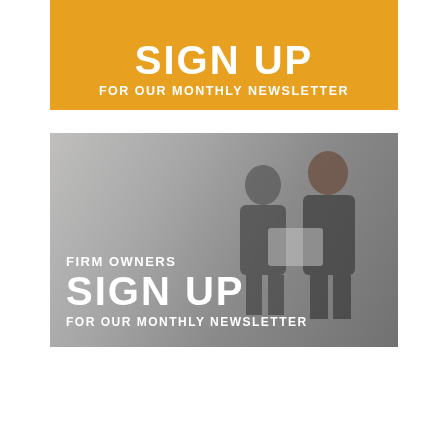[Figure (illustration): Orange banner with bold white text 'SIGN UP FOR OUR MONTHLY NEWSLETTER' on amber/orange background]
[Figure (photo): Dark grey overlay image of two businessmen in suits reviewing a document, with white bold text overlay reading: FIRM OWNERS / SIGN UP / FOR OUR MONTHLY NEWSLETTER]